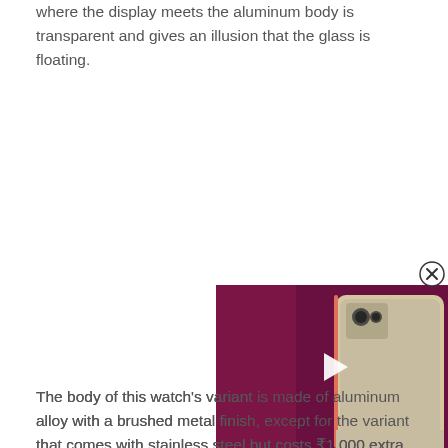where the display meets the aluminum body is transparent and gives an illusion that the glass is floating.
[Figure (photo): A video overlay thumbnail showing a smartphone with white/gold body against a dark magenta/purple background, with a play button in the center. A close (X in circle) button appears in the top-right corner.]
The body of this watch's variant is made of aluminum alloy with a brushed metal finish, except for the variant that comes with stainless steel but costs ₹1,000 extra in India. The bottom panel on both of the variants is made of polycarbonate. Amazfit helps buyers distinguish between